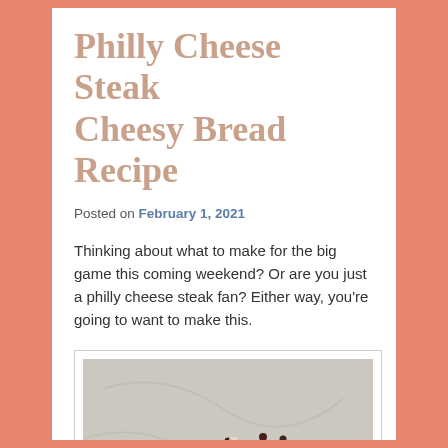Philly Cheese Steak Cheesy Bread Recipe
Posted on February 1, 2021
Thinking about what to make for the big game this coming weekend? Or are you just a philly cheese steak fan? Either way, you're going to want to make this.
[Figure (photo): A Philly cheese steak cheesy bread on a wooden cutting board, topped with sauteed bell peppers (yellow, red), onions, and seasoned beef, all over melted white cheese on flatbread. The cutting board is on a marble surface.]